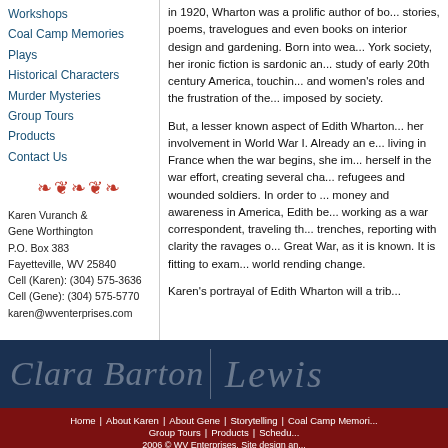Workshops
Coal Camp Memories
Plays
Historical Characters
Murder Mysteries
Group Tours
Products
Contact Us
Karen Vuranch &
Gene Worthington
P.O. Box 383
Fayetteville, WV 25840
Cell (Karen): (304) 575-3636
Cell (Gene): (304) 575-5770
karen@wventerprises.com
in 1920, Wharton was a prolific author of books, stories, poems, travelogues and even books on interior design and gardening. Born into wealthy New York society, her ironic fiction is sardonic and a study of early 20th century America, touching on men and women's roles and the frustration of the limits imposed by society.
But, a lesser known aspect of Edith Wharton's life is her involvement in World War I. Already an expatriate living in France when the war begins, she immerses herself in the war effort, creating several charities for refugees and wounded soldiers. In order to raise money and awareness in America, Edith becomes working as a war correspondent, traveling through the trenches, reporting with clarity the ravages of the Great War, as it is known. It is fitting to examine this world rending change.
Karen's portrayal of Edith Wharton will a trib...
[Figure (illustration): Cursive text showing historical character names 'Clara Barton' and 'Lewis' on dark navy background]
Home | About Karen | About Gene | Storytelling | Coal Camp Memories | Group Tours | Products | Schedule
2006 © WV Enterprises. Site design an...